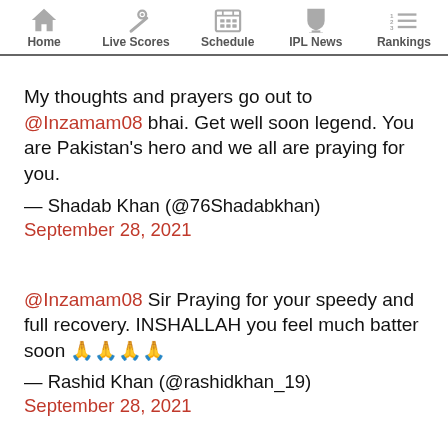Home | Live Scores | Schedule | IPL News | Rankings
My thoughts and prayers go out to @Inzamam08 bhai. Get well soon legend. You are Pakistan's hero and we all are praying for you.
— Shadab Khan (@76Shadabkhan)
September 28, 2021
@Inzamam08 Sir Praying for your speedy and full recovery. INSHALLAH you feel much batter soon 🙏🙏🙏🙏
— Rashid Khan (@rashidkhan_19)
September 28, 2021